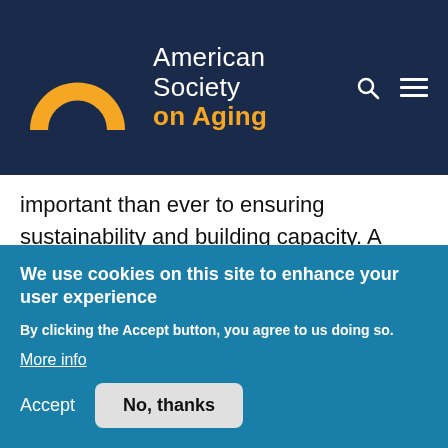American Society on Aging
important than ever to ensuring sustainability and building capacity. A critical competency for CBOs to realize these collaborations is the ability to package and market their services in a manner that appeals to new potential
We use cookies on this site to enhance your user experience
By clicking the Accept button, you agree to us doing so.
More info
Accept   No, thanks